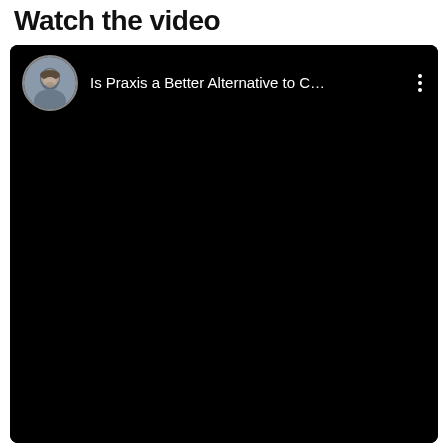Watch the video
[Figure (screenshot): Embedded video player with black background showing a YouTube-style video titled 'Is Praxis a Better Alternative to C...' with a circular avatar of a bearded man on the left and a three-dot menu icon on the right]